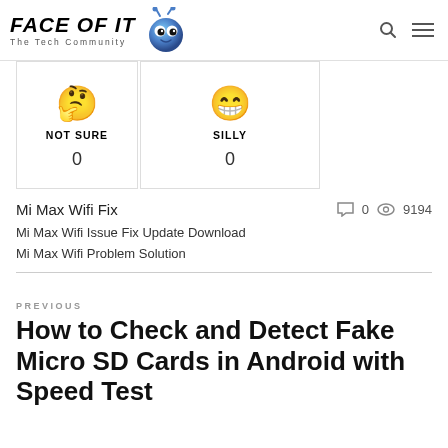FACE OF IT The Tech Community
[Figure (infographic): Two reaction cards side by side: NOT SURE with thinking emoji and count 0, SILLY with grinning emoji and count 0]
Mi Max Wifi Fix
0  9194
Mi Max Wifi Issue Fix Update Download
Mi Max Wifi Problem Solution
PREVIOUS
How to Check and Detect Fake Micro SD Cards in Android with Speed Test